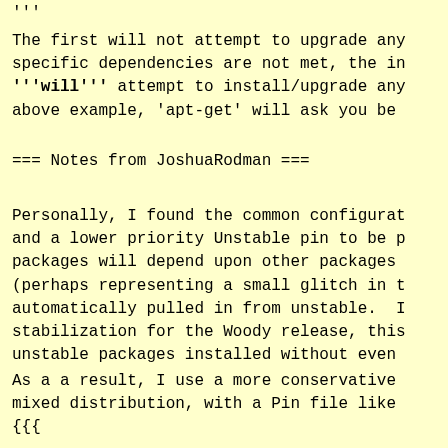'''
The first will not attempt to upgrade any specific dependencies are not met, the in '''will''' attempt to install/upgrade any above example, 'apt-get' will ask you be
=== Notes from JoshuaRodman ===
Personally, I found the common configurat and a lower priority Unstable pin to be p packages will depend upon other packages (perhaps representing a small glitch in t automatically pulled in from unstable. I stabilization for the Woody release, this unstable packages installed without even
As a a result, I use a more conservative mixed distribution, with a Pin file like {{{